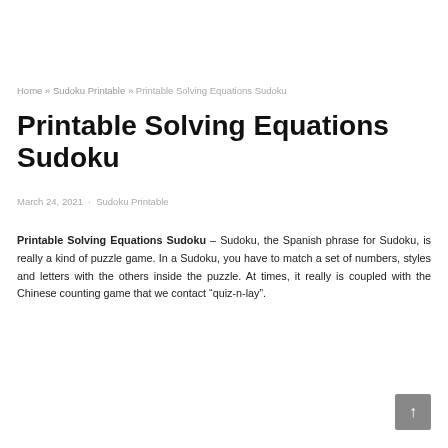Home » Sudoku Printable » Printable Solving Equations Sudoku
Printable Solving Equations Sudoku
March 24, 2021 · Sudoku Printable
Printable Solving Equations Sudoku – Sudoku, the Spanish phrase for Sudoku, is really a kind of puzzle game. In a Sudoku, you have to match a set of numbers, styles and letters with the others inside the puzzle. At times, it really is coupled with the Chinese counting game that we contact "quiz-n-lay".